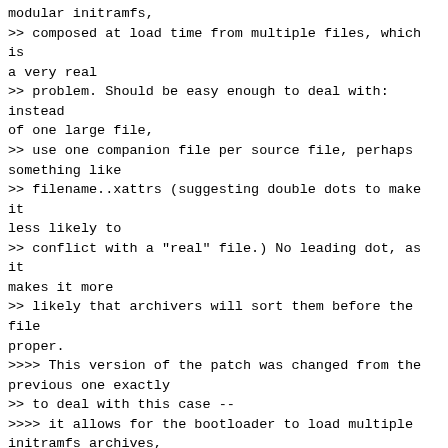modular initramfs,
>> composed at load time from multiple files, which is a very real
>> problem. Should be easy enough to deal with: instead of one large file,
>> use one companion file per source file, perhaps something like
>> filename..xattrs (suggesting double dots to make it less likely to
>> conflict with a "real" file.) No leading dot, as it makes it more
>> likely that archivers will sort them before the file proper.
>>>> This version of the patch was changed from the previous one exactly
>> to deal with this case --
>>>> it allows for the bootloader to load multiple initramfs archives,
>> each
>>>> with its own .xattr-list file, and to have that work properly.
>>>> Could you elaborate on the issue that you see?
>>>>
>>>>
>>>>
>>>> Well, for one thing, how do you define "cpio archive", each with its
>> own
>>>> .xattr-list file? Second, that would seem to depend on the ordering,
>> no,